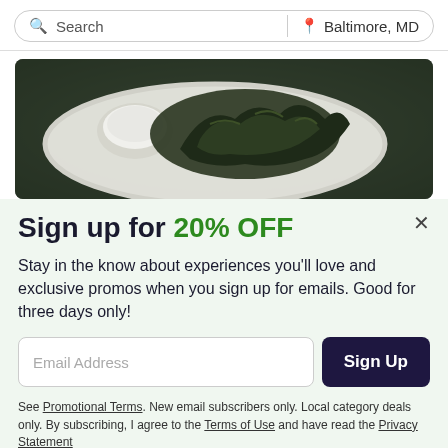[Figure (screenshot): Search bar with 'Search' text on left and 'Baltimore, MD' location on right, separated by a vertical divider]
[Figure (photo): Food photo showing a dark leafy dish on a white plate with a small bowl of white dipping sauce]
Sign up for 20% OFF
Stay in the know about experiences you'll love and exclusive promos when you sign up for emails. Good for three days only!
Email Address
Sign Up
See Promotional Terms. New email subscribers only. Local category deals only. By subscribing, I agree to the Terms of Use and have read the Privacy Statement